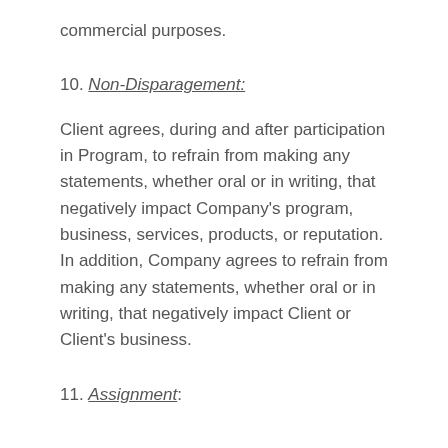commercial purposes.
10. Non-Disparagement:
Client agrees, during and after participation in Program, to refrain from making any statements, whether oral or in writing, that negatively impact Company’s program, business, services, products, or reputation. In addition, Company agrees to refrain from making any statements, whether oral or in writing, that negatively impact Client or Client’s business.
11. Assignment: